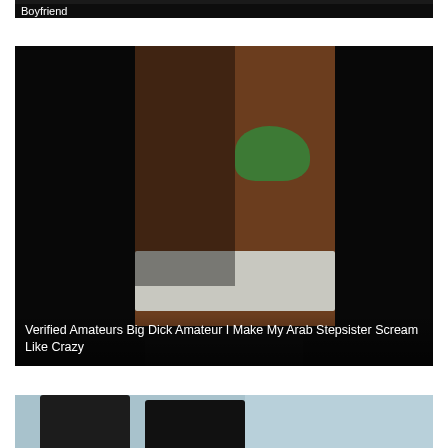Boyfriend
[Figure (photo): Dark photo - Verified Amateurs Big Dick Amateur I Make My Arab Stepsister Scream Like Crazy]
Verified Amateurs Big Dick Amateur I Make My Arab Stepsister Scream Like Crazy
[Figure (photo): Partial photo visible at bottom of page]